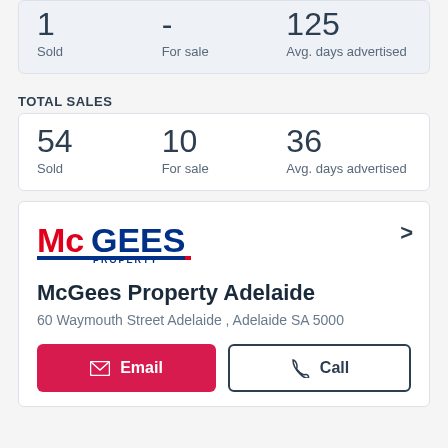| Sold | For sale | Avg. days advertised |
| --- | --- | --- |
| 1 | - | 125 |
TOTAL SALES
| Sold | For sale | Avg. days advertised |
| --- | --- | --- |
| 54 | 10 | 36 |
[Figure (logo): McGees Property logo with red and blue text]
McGees Property Adelaide
60 Waymouth Street Adelaide , Adelaide SA 5000
Email | Call